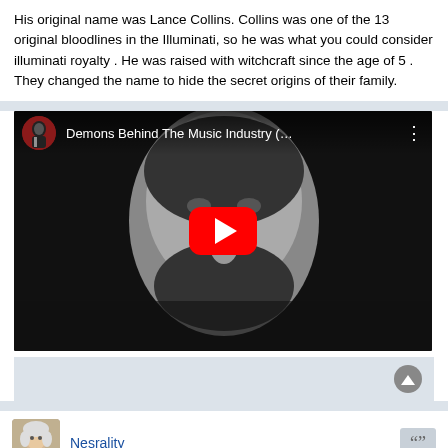His original name was Lance Collins. Collins was one of the 13 original bloodlines in the Illuminati, so he was what you could consider illuminati royalty . He was raised with witchcraft since the age of 5 . They changed the name to hide the secret origins of their family.
[Figure (screenshot): YouTube video embed showing title 'Demons Behind The Music Industry (…' with a grayscale face thumbnail and red play button]
Nesrality
Re: Music and Mind Control
Wed Jun 15, 2022 3:14 am